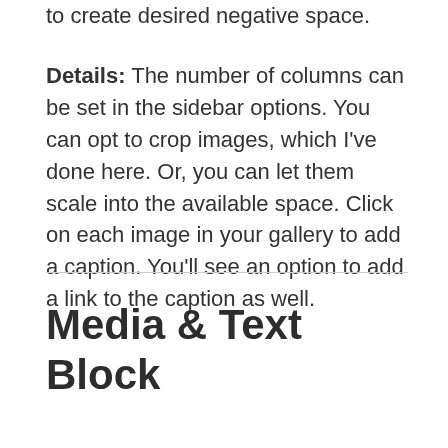to create desired negative space.
Details: The number of columns can be set in the sidebar options. You can opt to crop images, which I've done here. Or, you can let them scale into the available space. Click on each image in your gallery to add a caption. You'll see an option to add a link to the caption as well.
Media & Text Block